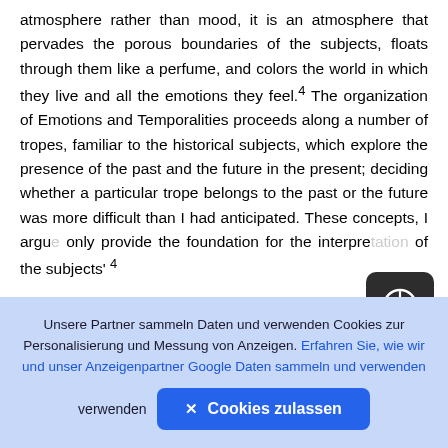atmosphere rather than mood, it is an atmosphere that pervades the porous boundaries of the subjects, floats through them like a perfume, and colors the world in which they live and all the emotions they feel.4 The organization of Emotions and Temporalities proceeds along a number of tropes, familiar to the historical subjects, which explore the presence of the past and the future in the present; deciding whether a particular trope belongs to the past or the future was more difficult than I had anticipated. These concepts, I argu[e] only provide the foundation for the interpre[tation] of the subjects' 4
I would like to thank... [partial, cut off]
Unsere Partner sammeln Daten und verwenden Cookies zur Personalisierung und Messung von Anzeigen. Erfahren Sie, wie wir und unser Anzeigenpartner Google Daten sammeln und verwenden